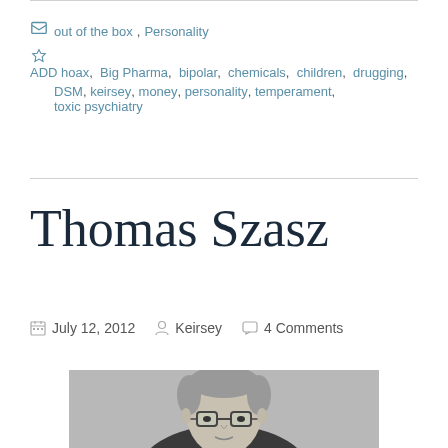out of the box, Personality
ADD hoax, Big Pharma, bipolar, chemicals, children, drugging, DSM, keirsey, money, personality, temperament, toxic psychiatry
Thomas Szasz
July 12, 2012   Keirsey   4 Comments
[Figure (photo): Black and white portrait photo of Thomas Szasz, an elderly man wearing glasses, shown from chest up, slightly smiling]